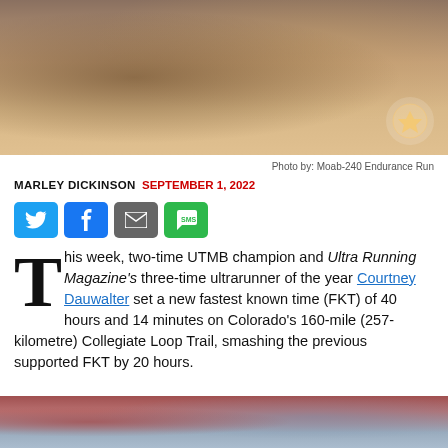[Figure (photo): Close-up photo of a runner wearing a hydration vest and holding a water bottle, with blurred desert/rocky background]
Photo by: Moab-240 Endurance Run
MARLEY DICKINSON SEPTEMBER 1, 2022
[Figure (infographic): Social sharing buttons: Twitter, Facebook, Email, SMS]
This week, two-time UTMB champion and Ultra Running Magazine's three-time ultrarunner of the year Courtney Dauwalter set a new fastest known time (FKT) of 40 hours and 14 minutes on Colorado's 160-mile (257-kilometre) Collegiate Loop Trail, smashing the previous supported FKT by 20 hours.
[Figure (photo): Partial photo visible at bottom of page showing runners at what appears to be a race or outdoor event]